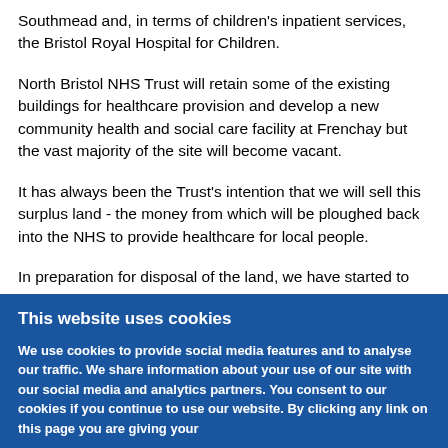Southmead and, in terms of children's inpatient services, the Bristol Royal Hospital for Children.
North Bristol NHS Trust will retain some of the existing buildings for healthcare provision and develop a new community health and social care facility at Frenchay but the vast majority of the site will become vacant.
It has always been the Trust's intention that we will sell this surplus land - the money from which will be ploughed back into the NHS to provide healthcare for local people.
In preparation for disposal of the land, we have started to develop a masterplan which will inform an outline planning application to South Gloucestershire Council for future
This website uses cookies
We use cookies to provide social media features and to analyse our traffic. We share information about your use of our site with our social media and analytics partners. You consent to our cookies if you continue to use our website. By clicking any link on this page you are giving your